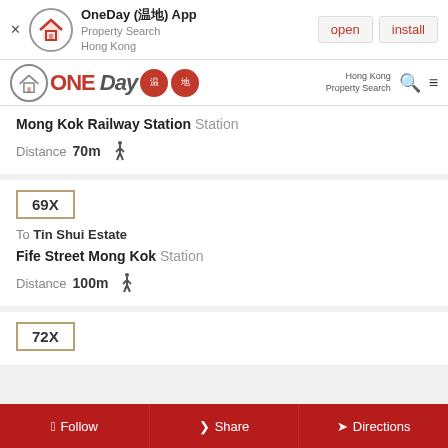[Figure (screenshot): OneDay App install banner with icon, open and install buttons]
[Figure (logo): OneDay property search Hong Kong navigation bar with search and menu icons]
Mong Kok Railway Station Station
Distance 70m
69X
To Tin Shui Estate
Fife Street Mong Kok Station
Distance 100m
72X
Follow
Share
Directions